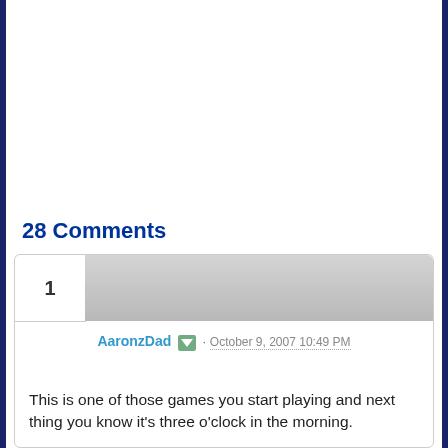28 Comments
AaronzDad · October 9, 2007 10:49 PM
This is one of those games you start playing and next thing you know it's three o'clock in the morning.
There's a learning curve on the weight of things and how they'll act in the force field - maybe a display to pop up when you hover over an item to know how far it'll carry in the goo (what the heck IS that anyway?!?) would help.
Add a mellow music track and this game will